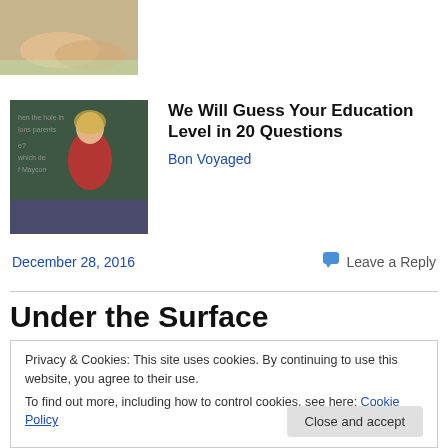[Figure (photo): Partial photo of hands at the top of the page]
[Figure (photo): A female teacher in a red top standing in front of a chalkboard]
We Will Guess Your Education Level in 20 Questions
Bon Voyaged
December 28, 2016
Leave a Reply
Under the Surface
Privacy & Cookies: This site uses cookies. By continuing to use this website, you agree to their use.
To find out more, including how to control cookies, see here: Cookie Policy
forget how deeply this runs through my own kiddo.